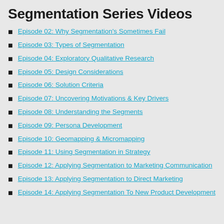Segmentation Series Videos
Episode 02: Why Segmentation's Sometimes Fail
Episode 03: Types of Segmentation
Episode 04: Exploratory Qualitative Research
Episode 05: Design Considerations
Episode 06: Solution Criteria
Episode 07: Uncovering Motivations & Key Drivers
Episode 08: Understanding the Segments
Episode 09: Persona Development
Episode 10: Geomapping & Micromapping
Episode 11: Using Segmentation in Strategy
Episode 12: Applying Segmentation to Marketing Communication
Episode 13: Applying Segmentation to Direct Marketing
Episode 14: Applying Segmentation To New Product Development